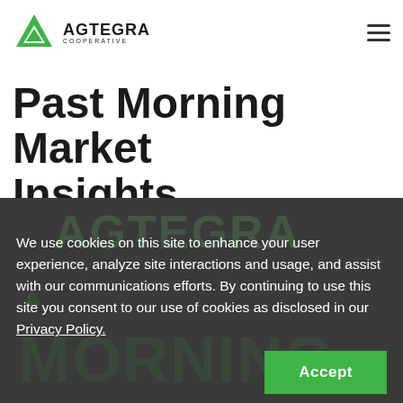[Figure (logo): Agtegra Cooperative logo with green triangle/arrow icon and text AGTEGRA COOPERATIVE]
Past Morning Market Insights
We use cookies on this site to enhance your user experience, analyze site interactions and usage, and assist with our communications efforts. By continuing to use this site you consent to our use of cookies as disclosed in our Privacy Policy.
Accept